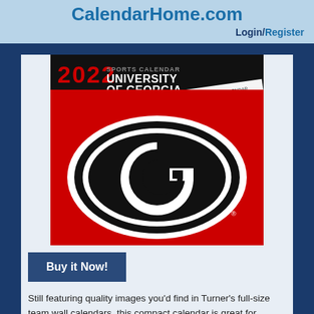CalendarHome.com Login/Register
[Figure (photo): 2022 University of Georgia Sports Calendar product image showing the UGA Bulldogs 'G' logo on red background with black and white oval]
Buy it Now!
Still featuring quality images you'd find in Turner's full-size team wall calendars, this compact calendar is great for showing off your passion for your favorite College team in a space-saving format. This calendar is